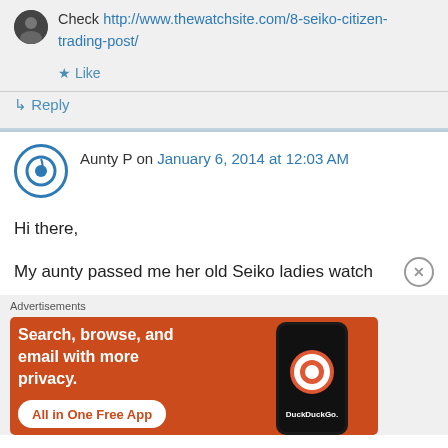Check http://www.thewatchsite.com/8-seiko-citizen-trading-post/
★ Like
↳ Reply
Aunty P on January 6, 2014 at 12:03 AM
Hi there,
My aunty passed me her old Seiko ladies watch
Advertisements
[Figure (other): DuckDuckGo advertisement banner: orange background with text 'Search, browse, and email with more privacy. All in One Free App' and a phone graphic with DuckDuckGo logo]